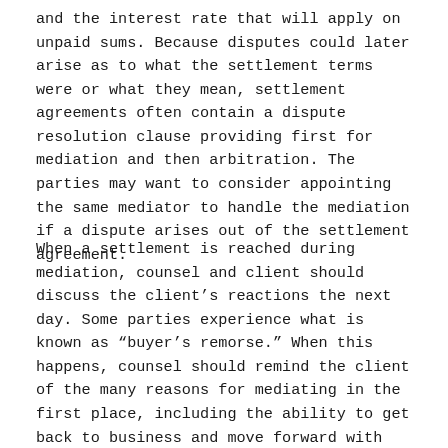and the interest rate that will apply on unpaid sums. Because disputes could later arise as to what the settlement terms were or what they mean, settlement agreements often contain a dispute resolution clause providing first for mediation and then arbitration. The parties may want to consider appointing the same mediator to handle the mediation if a dispute arises out of the settlement agreement.
When a settlement is reached during mediation, counsel and client should discuss the client's reactions the next day. Some parties experience what is known as “buyer’s remorse.” When this happens, counsel should remind the client of the many reasons for mediating in the first place, including the ability to get back to business and move forward with life.